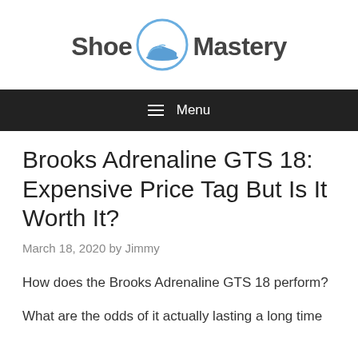[Figure (logo): Shoe Mastery logo with text 'Shoe' and 'Mastery' in dark gray bold font, and a blue circle containing a shoe icon in the center]
≡ Menu
Brooks Adrenaline GTS 18: Expensive Price Tag But Is It Worth It?
March 18, 2020 by Jimmy
How does the Brooks Adrenaline GTS 18 perform?
What are the odds of it actually lasting a long time